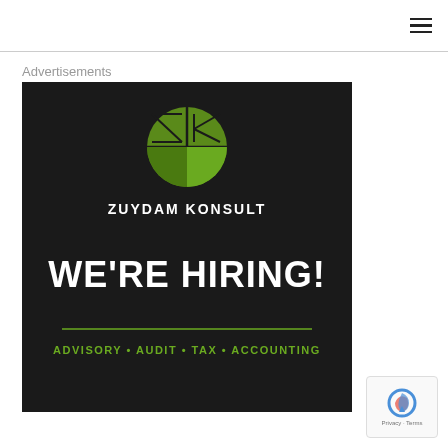Advertisements
[Figure (illustration): Zuydam Konsult advertisement on black background. Features a circular green logo with ZK letters divided into quarters, company name 'ZUYDAM KONSULT' in white uppercase letters, large bold white text 'WE'RE HIRING!', a green horizontal line, and green text 'ADVISORY • AUDIT • TAX • ACCOUNTING' at the bottom.]